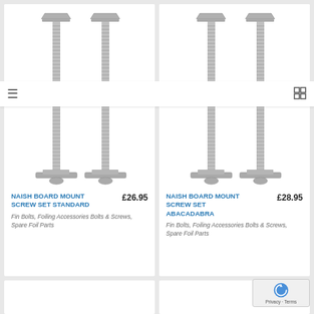[Figure (photo): Naish Board Mount Screw Set Standard - 4 T-bolt screws with threaded shafts arranged in a 2x2 grid]
[Figure (photo): Naish Board Mount Screw Set Abacadabra - 4 T-bolt screws with threaded shafts arranged in a 2x2 grid]
NAISH BOARD MOUNT SCREW SET STANDARD £26.95 Fin Bolts, Foiling Accessories Bolts & Screws, Spare Foil Parts
NAISH BOARD MOUNT SCREW SET ABACADABRA £28.95 Fin Bolts, Foiling Accessories Bolts & Screws, Spare Foil Parts